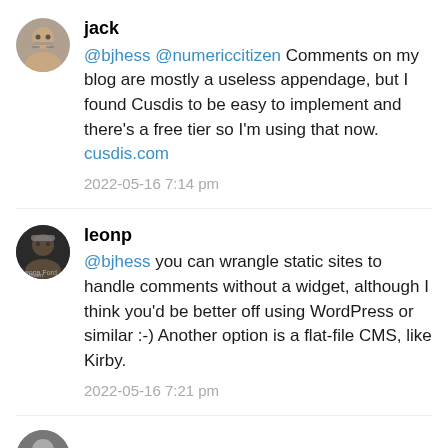jack
@bjhess @numericcitizen Comments on my blog are mostly a useless appendage, but I found Cusdis to be easy to implement and there's a free tier so I'm using that now. cusdis.com
2022-05-16 7:14 pm
leonp
@bjhess you can wrangle static sites to handle comments without a widget, although I think you'd be better off using WordPress or similar :-) Another option is a flat-file CMS, like Kirby.
2022-05-16 7:21 pm